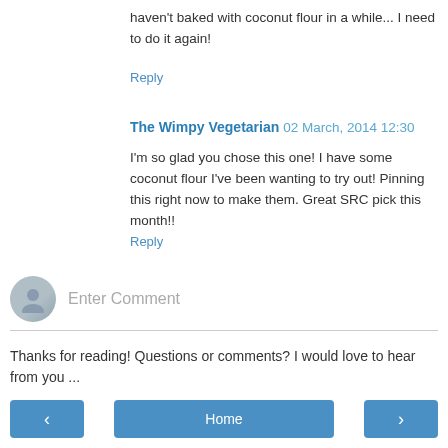haven't baked with coconut flour in a while... I need to do it again!
Reply
The Wimpy Vegetarian 02 March, 2014 12:30
I'm so glad you chose this one! I have some coconut flour I've been wanting to try out! Pinning this right now to make them. Great SRC pick this month!!
Reply
Enter Comment
Thanks for reading! Questions or comments? I would love to hear from you ...